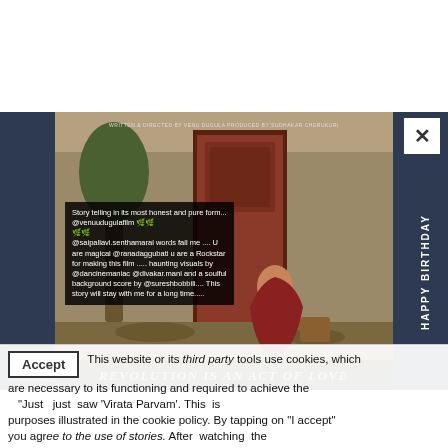[Figure (photo): Movie poster for 'Virata Parvam' / 'Revolution is an Act of Love'. Shows a woman in a red saree sitting against a large red door outdoors. Text overlay on left shows social media review. Director: Venu Dugula, Producer: Sudhakar Cherukuri. 'HAPPY BIRTHDAY' text vertically on right. Bottom text: REVOLUTION IS AN ACT OF LOVE.]
This website or its third party tools use cookies, which are necessary to its functioning and required to achieve the purposes illustrated in the cookie policy. By tapping on "I accept" you agree to the use of cookies. After watching the
"Just saw 'Virata Parvam'. This is an act of love story."